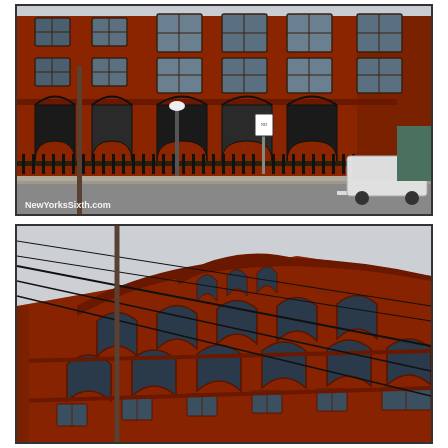[Figure (photo): Exterior photograph of a red brick multi-story building with arched windows on the ground floor, iron fencing, a street lamp, a no-parking sign, and a white SUV visible at the right. Watermark reads 'NewYorksSixth.com' in the lower left corner.]
[Figure (photo): Close-up photograph taken from below looking up at the upper floors of a red brick building with Romanesque arch windows, decorative brickwork, and overhead utility wires crossing the frame diagonally against a grey sky.]